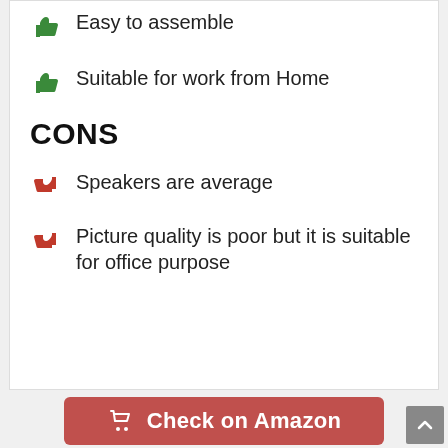Easy to assemble
Suitable for work from Home
CONS
Speakers are average
Picture quality is poor but it is suitable for office purpose
Check on Amazon